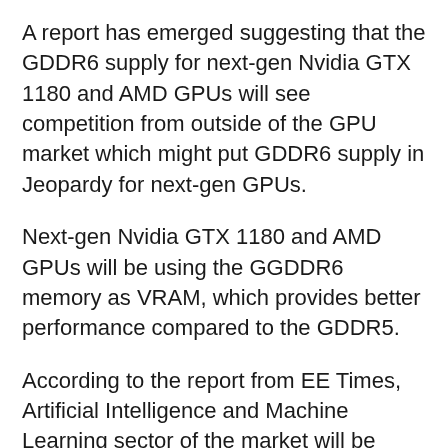A report has emerged suggesting that the GDDR6 supply for next-gen Nvidia GTX 1180 and AMD GPUs will see competition from outside of the GPU market which might put GDDR6 supply in Jeopardy for next-gen GPUs.
Next-gen Nvidia GTX 1180 and AMD GPUs will be using the GGDDR6 memory as VRAM, which provides better performance compared to the GDDR5.
According to the report from EE Times, Artificial Intelligence and Machine Learning sector of the market will be using the GDDR6 memory as they require ultra-fast memories to operate properly.